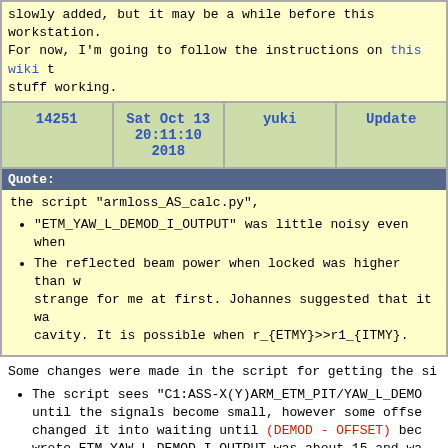slowly added, but it may be a while before this workstation. For now, I'm going to follow the instructions on this wiki to stuff working.
| 14251 | Sat Oct 13 20:11:10 2018 | yuki | Update |
| --- | --- | --- | --- |
Quote:
the script "armloss_AS_calc.py",
"ETM_YAW_L_DEMOD_I_OUTPUT" was little noisy even when
The reflected beam power when locked was higher than w strange for me at first. Johannes suggested that it wa cavity. It is possible when r_{ETMY}>>r1_{ITMY}.
Some changes were made in the script for getting the si
The script sees "C1:ASS-X(Y)ARM_ETM_PIT/YAW_L_DEMO until the signals become small, however some offse changed it into waiting until (DEMOD - OFFSET) bec wrote ETM_YAW_L_DEMOD_I_OUTPUT was about 15 and wa That was just a offset value.)
I added a code which stops running the script when beam is low. You can set this threshold. The nomin TRX(Y)_OUT16" is 1.2 (1.0), so the threshold is se
In the yesterday measurement the beam power of ASDC is misaligned and I wrote it maybe caused by over-coupled